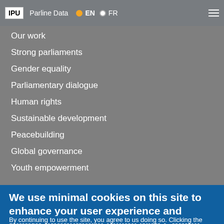IPU | Parline Data | EN | FR
Our work
Strong parliaments
Gender equality
Parliamentary dialogue
Human rights
Sustainable development
Peacebuilding
Global governance
Youth empowerment
Quick links
IPU structure and governance
News
We use minimal cookies on this site to enhance your user experience and record anonymous usage with Google Analytics
By continuing to use the site, you agree to us doing so. Clicking the